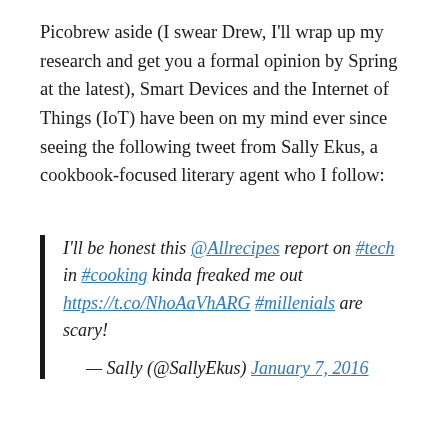Picobrew aside (I swear Drew, I'll wrap up my research and get you a formal opinion by Spring at the latest), Smart Devices and the Internet of Things (IoT) have been on my mind ever since seeing the following tweet from Sally Ekus, a cookbook-focused literary agent who I follow:
I'll be honest this @Allrecipes report on #tech in #cooking kinda freaked me out https://t.co/NhoAaVhARG #millenials are scary!

— Sally (@SallyEkus) January 7, 2016